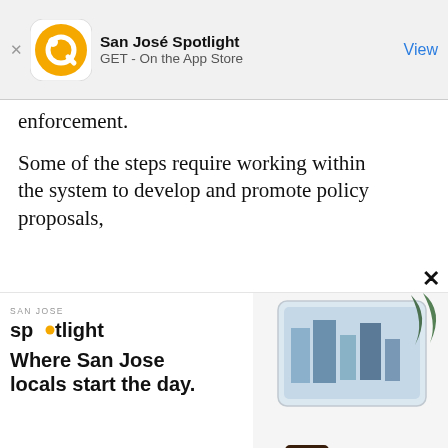[Figure (screenshot): App Store smart banner showing San José Spotlight app with orange circular logo, 'GET - On the App Store' text and 'View' button]
enforcement.
Some of the steps require working within the system to develop and promote policy proposals,
[Figure (screenshot): San José Spotlight advertisement banner: logo, tagline 'Where San Jose locals start the day.', sanjosespotlight.com, tablet/device image]
[Figure (screenshot): Email subscription widget with 'EMAIL ADDRESS' input field, 'SUBSCRIBE' button, and 'Thanks, I'm not interested or already a subscriber' footer link on dark background]